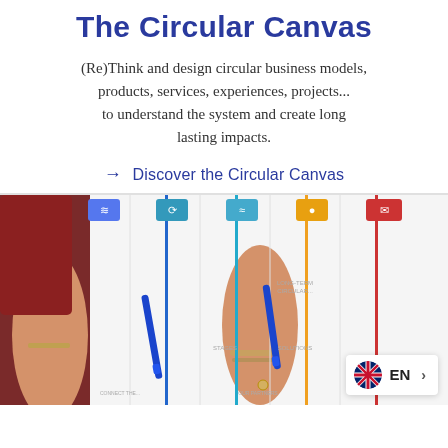The Circular Canvas
(Re)Think and design circular business models, products, services, experiences, projects... to understand the system and create long lasting impacts.
→ Discover the Circular Canvas
[Figure (photo): Two hands writing on a colorful Circular Canvas diagram with multiple columns and colored vertical lines, with category icons at the top.]
EN >